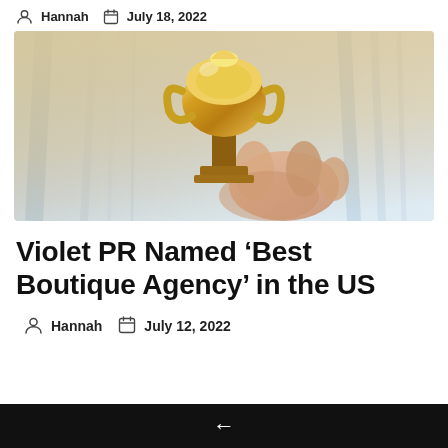Hannah  July 18, 2022
[Figure (photo): A hand holding up a golden trophy cup against a blurred blue building background with warm light]
Violet PR Named ‘Best Boutique Agency’ in the US
Hannah  July 12, 2022
←